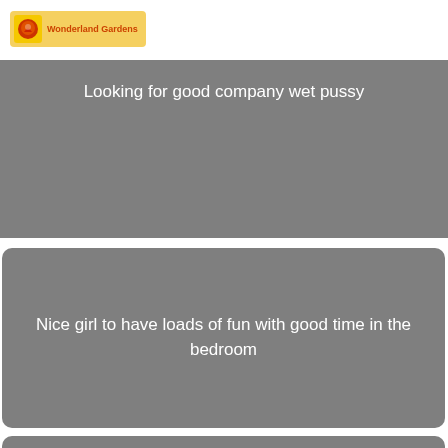[Figure (logo): Wonderland Gardens logo: yellow rounded rectangle with a stylized red/orange icon and text 'Wonderland Gardens']
Looking for good company wet pussy
Nice girl to have loads of fun with good time in the bedroom